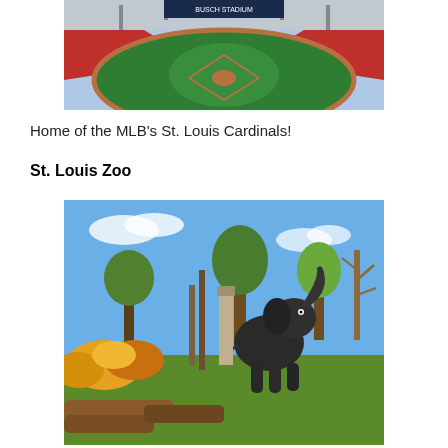[Figure (photo): Aerial view of a baseball stadium with green field and red seats — home of the St. Louis Cardinals.]
Home of the MLB's St. Louis Cardinals!
St. Louis Zoo
[Figure (photo): Photo of the St. Louis Zoo featuring an elephant statue surrounded by colorful flowers and trees under a blue sky.]